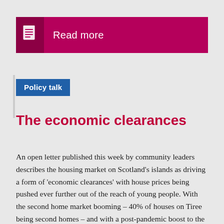Read more
Policy talk
The economic clearances
An open letter published this week by community leaders describes the housing market on Scotland's islands as driving a form of 'economic clearances' with house prices being pushed ever further out of the reach of young people. With the second home market booming – 40% of houses on Tiree being second homes – and with a post-pandemic boost to the market exacerbating the problem, some kind of